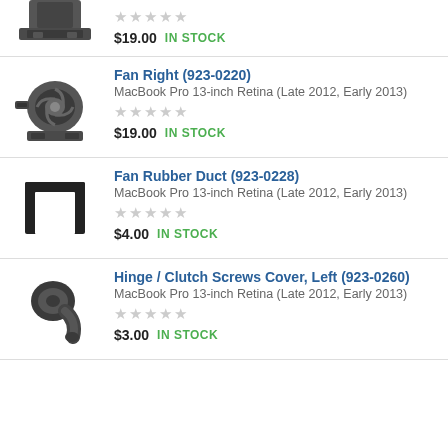[Figure (photo): Partial product image of a fan/part at top of page]
$19.00  IN STOCK
[Figure (photo): Fan Right product image]
Fan Right (923-0220)
MacBook Pro 13-inch Retina (Late 2012, Early 2013)
★★★★★ (stars)
$19.00  IN STOCK
[Figure (photo): Fan Rubber Duct product image]
Fan Rubber Duct (923-0228)
MacBook Pro 13-inch Retina (Late 2012, Early 2013)
★★★★★ (stars)
$4.00  IN STOCK
[Figure (photo): Hinge / Clutch Screws Cover Left product image]
Hinge / Clutch Screws Cover, Left (923-0260)
MacBook Pro 13-inch Retina (Late 2012, Early 2013)
★★★★★ (stars)
$3.00  IN STOCK